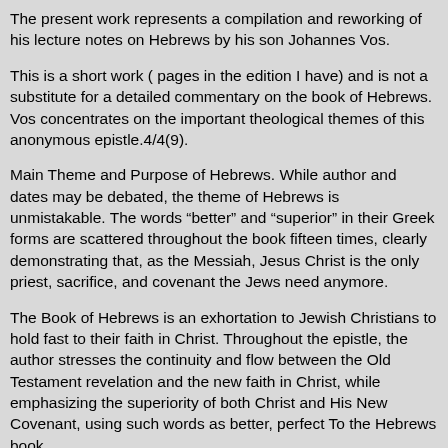The present work represents a compilation and reworking of his lecture notes on Hebrews by his son Johannes Vos.
This is a short work ( pages in the edition I have) and is not a substitute for a detailed commentary on the book of Hebrews. Vos concentrates on the important theological themes of this anonymous epistle.4/4(9).
Main Theme and Purpose of Hebrews. While author and dates may be debated, the theme of Hebrews is unmistakable. The words “better” and “superior” in their Greek forms are scattered throughout the book fifteen times, clearly demonstrating that, as the Messiah, Jesus Christ is the only priest, sacrifice, and covenant the Jews need anymore.
The Book of Hebrews is an exhortation to Jewish Christians to hold fast to their faith in Christ. Throughout the epistle, the author stresses the continuity and flow between the Old Testament revelation and the new faith in Christ, while emphasizing the superiority of both Christ and His New Covenant, using such words as better, perfect To the Hebrews book.
Hebrews is probably therefore a written homily, to which the author gave an epistolary ending (Hb –25). The author begins